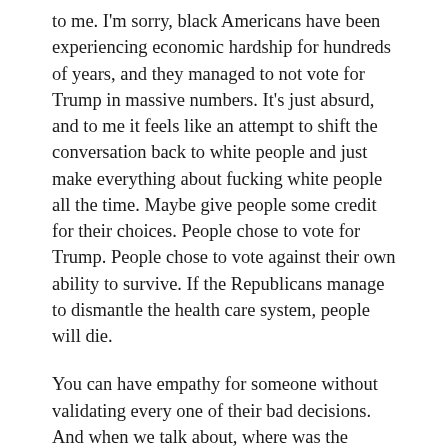to me. I'm sorry, black Americans have been experiencing economic hardship for hundreds of years, and they managed to not vote for Trump in massive numbers. It's just absurd, and to me it feels like an attempt to shift the conversation back to white people and just make everything about fucking white people all the time. Maybe give people some credit for their choices. People chose to vote for Trump. People chose to vote against their own ability to survive. If the Republicans manage to dismantle the health care system, people will die.
You can have empathy for someone without validating every one of their bad decisions. And when we talk about, where was the vacuum here, where was the lack of empathy, it was on the side of people who voted for Trump. People voted for mayhem and death. Those are the people I'm talking to. Maybe think outside of your tiny circle for one second, and outside of your resentment of